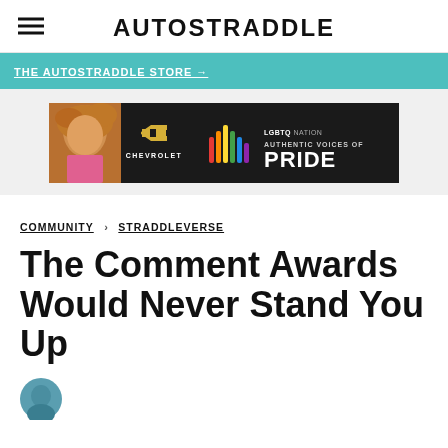AUTOSTRADDLE
THE AUTOSTRADDLE STORE →
[Figure (photo): Chevrolet advertisement banner featuring a person with large curly hair, LGBTQ Nation Authentic Voices of Pride colorful bar chart logo, on a dark background]
COMMUNITY > STRADDLEVERSE
The Comment Awards Would Never Stand You Up